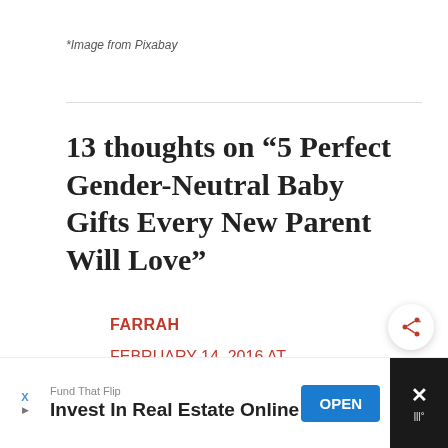*Image from Pixabay
13 thoughts on “5 Perfect Gender-Neutral Baby Gifts Every New Parent Will Love”
FARRAH
FEBRUARY 14, 2016 AT
11:03 PM